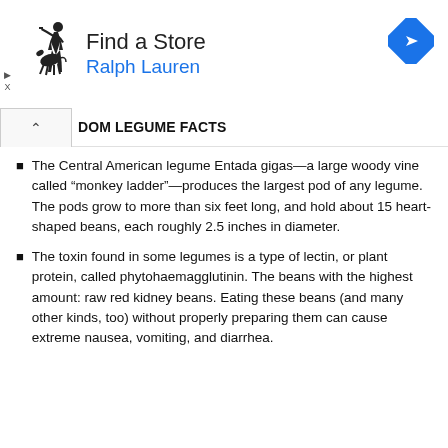[Figure (logo): Ralph Lauren polo player logo with 'Find a Store / Ralph Lauren' text and a blue navigation arrow icon — advertisement banner]
DOM LEGUME FACTS
The Central American legume Entada gigas—a large woody vine called “monkey ladder”—produces the largest pod of any legume. The pods grow to more than six feet long, and hold about 15 heart-shaped beans, each roughly 2.5 inches in diameter.
The toxin found in some legumes is a type of lectin, or plant protein, called phytohaemagglutinin. The beans with the highest amount: raw red kidney beans. Eating these beans (and many other kinds, too) without properly preparing them can cause extreme nausea, vomiting, and diarrhea.